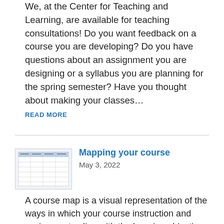We, at the Center for Teaching and Learning, are available for teaching consultations! Do you want feedback on a course you are developing? Do you have questions about an assignment you are designing or a syllabus you are planning for the spring semester? Have you thought about making your classes…
READ MORE
Mapping your course
May 3, 2022
A course map is a visual representation of the ways in which your course instruction and assignments align with the learning objectives. Mapping your course allows you to identify where students are learning key concepts and skills, and to make decisions about formative and summative assessments. It can also help